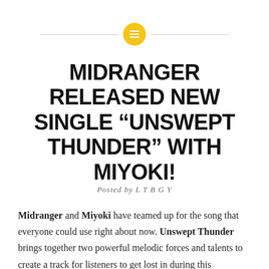[Figure (logo): Yellow circle with white horizontal lines icon, flanked by thin horizontal gray lines on either side]
MIDRANGER RELEASED NEW SINGLE “UNSWEPT THUNDER” WITH MIYOKI!
Posted by L T B G Y
Midranger and Miyoki have teamed up for the song that everyone could use right about now. Unswept Thunder brings together two powerful melodic forces and talents to create a track for listeners to get lost in during this